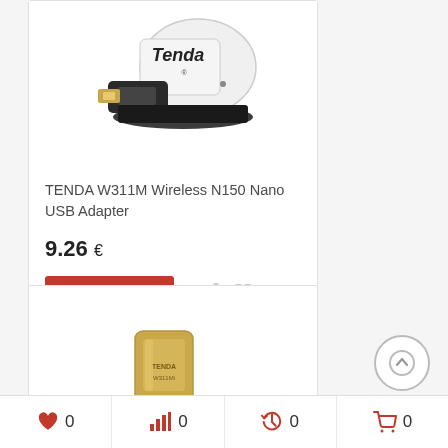[Figure (photo): Tenda W311M Wireless N150 Nano USB Adapter product photo, white and black USB dongle with Tenda logo]
TENDA W311M Wireless N150 Nano USB Adapter
9.26 €
Add to cart
[Figure (photo): Second product (gold/black nano USB adapter) partially visible at bottom of page]
♥ 0   📊 0   🕐 0   🛒 0